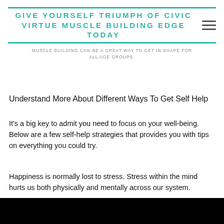GIVE YOURSELF TRIUMPH OF CIVIC VIRTUE MUSCLE BUILDING EDGE TODAY
MUSCLE BUILDING CAN BE A GREAT WAY TO GET IN SHAPE FOR ALL AGE GROUPS.
Understand More About Different Ways To Get Self Help
It's a big key to admit you need to focus on your well-being. Below are a few self-help strategies that provides you with tips on everything you could try.
Happiness is normally lost to stress. Stress within the mind hurts us both physically and mentally across our system.
[Figure (photo): Black image bar at bottom of page]